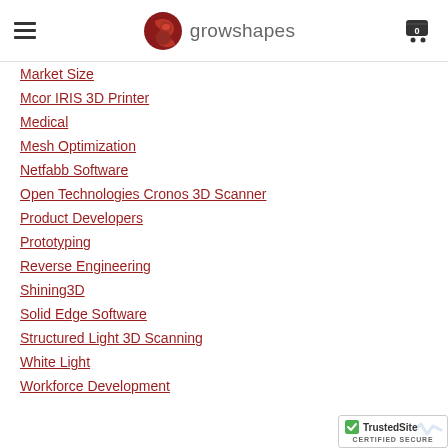growshapes
Market Size
Mcor IRIS 3D Printer
Medical
Mesh Optimization
Netfabb Software
Open Technologies Cronos 3D Scanner
Product Developers
Prototyping
Reverse Engineering
Shining3D
Solid Edge Software
Structured Light 3D Scanning
White Light
Workforce Development
[Figure (logo): TrustedSite CERTIFIED SECURE badge]